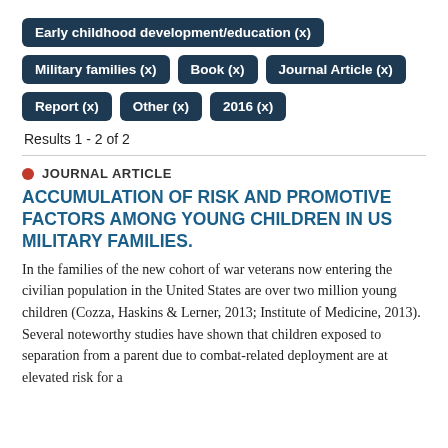Early childhood development/education (x)
Military families (x)
Book (x)
Journal Article (x)
Report (x)
Other (x)
2016 (x)
Results 1 - 2 of 2
JOURNAL ARTICLE
ACCUMULATION OF RISK AND PROMOTIVE FACTORS AMONG YOUNG CHILDREN IN US MILITARY FAMILIES.
In the families of the new cohort of war veterans now entering the civilian population in the United States are over two million young children (Cozza, Haskins & Lerner, 2013; Institute of Medicine, 2013). Several noteworthy studies have shown that children exposed to separation from a parent due to combat-related deployment are at elevated risk for a